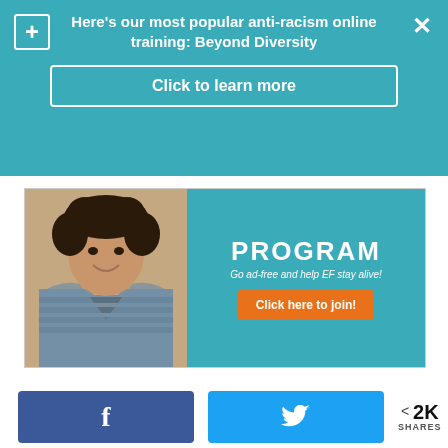Here's our most popular anti-racism online training: Beyond Diversity
Click to learn more
[Figure (infographic): Advertisement banner with a photo of a smiling woman and teal background showing 'PROGRAM - Go ad-free and help EF stay alive! Click here to join!']
Luna Merbruja is a Contributing Writer for Everyday Feminism. She's the author of Trauma Queen, an intern at Biyuti Publishing, international sorceress of performance art, and co-coordinator of the 2014
f   [Facebook share button]   [Twitter share button]   < 2K SHARES